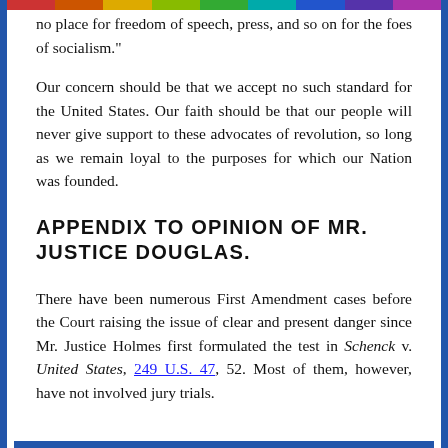no place for freedom of speech, press, and so on for the foes of socialism."
Our concern should be that we accept no such standard for the United States. Our faith should be that our people will never give support to these advocates of revolution, so long as we remain loyal to the purposes for which our Nation was founded.
APPENDIX TO OPINION OF MR. JUSTICE DOUGLAS.
There have been numerous First Amendment cases before the Court raising the issue of clear and present danger since Mr. Justice Holmes first formulated the test in Schenck v. United States, 249 U.S. 47, 52. Most of them, however, have not involved jury trials.